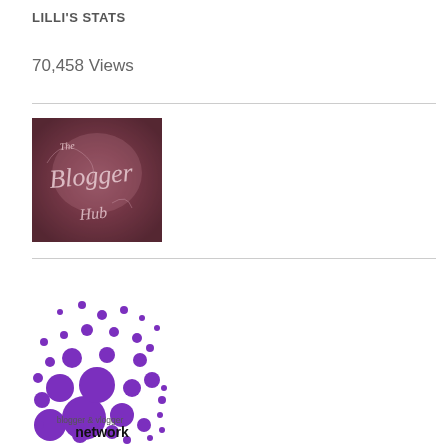LILLI'S STATS
70,458 Views
[Figure (logo): The Blogger Hub logo - dark reddish-purple textured background with cursive white/pink text reading 'The Blogger Hub']
[Figure (logo): Blogger & Vlogger Network logo - purple circles/dots pattern in bottom-left corner shape with text 'blogger & vlogger network']